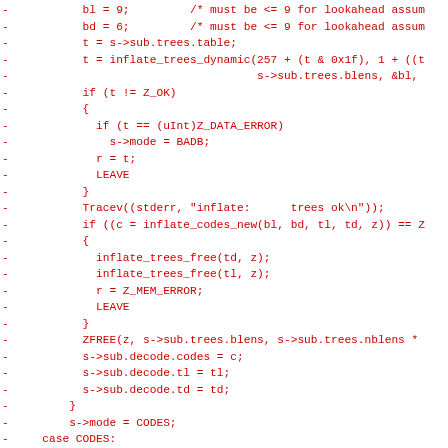[Figure (other): Diff/code listing in red monospace font showing C source code with deleted lines (prefixed by '-'), including inflate tree and decode operations.]